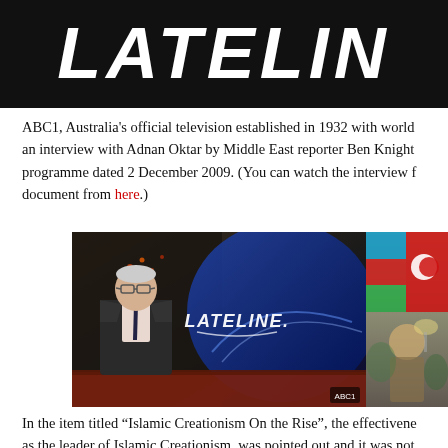[Figure (logo): LATELINE logo — white bold italic text on black background, partially cropped on right side]
ABC1, Australia's official television established in 1932 with world... an interview with Adnan Oktar by Middle East reporter Ben Knight... programme dated 2 December 2009. (You can watch the interview f... document from here.)
[Figure (photo): Left: TV anchor man in suit standing in front of Lateline logo backdrop. Right: Partially visible image with flags and a person seated.]
In the item titled "Islamic Creationism On the Rise", the effectivene... as the leader of Islamic Creationism, was pointed out and it was not...